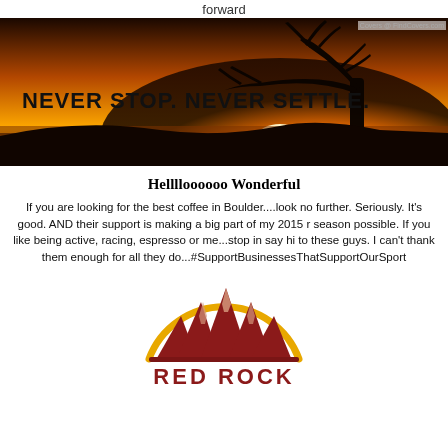forward
[Figure (photo): Motivational banner image with golden sunset, silhouetted tree, and bold text reading 'NEVER STOP. NEVER SETTLE.' with watermark 'Covers @ FindCovers.com']
Helllloooooo Wonderful
If you are looking for the best coffee in Boulder....look no further. Seriously. It's good. AND their support is making a big part of my 2015 r season possible. If you like being active, racing, espresso or me...stop in say hi to these guys. I can't thank them enough for all they do...#SupportBusinessesThatSupportOurSport
[Figure (logo): Red Rock coffee shop logo: stylized dark red mountain peaks with light pink highlights inside a golden arc/circle, with bold dark red text 'RED ROCK' at the bottom]